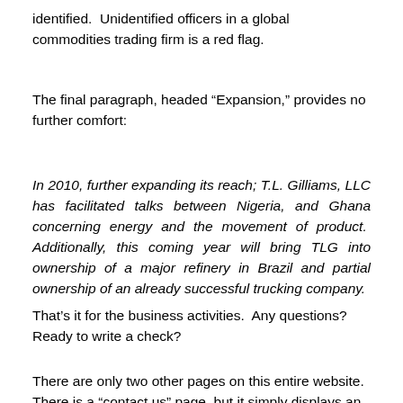identified.  Unidentified officers in a global commodities trading firm is a red flag.
The final paragraph, headed “Expansion,” provides no further comfort:
In 2010, further expanding its reach; T.L. Gilliams, LLC has facilitated talks between Nigeria, and Ghana concerning energy and the movement of product.  Additionally, this coming year will bring TLG into ownership of a major refinery in Brazil and partial ownership of an already successful trucking company.
That’s it for the business activities.  Any questions?  Ready to write a check?
There are only two other pages on this entire website.  There is a “contact us” page, but it simply displays an